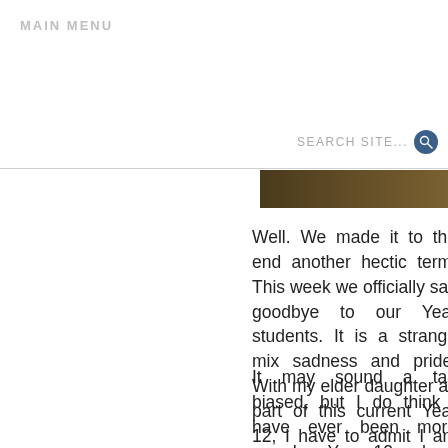MAIN MENU
[Figure (screenshot): Search bar with 'SEARCH SITE...' placeholder text and blue circular search icon]
[Figure (photo): Partial image strip showing dark golden/brown tones, appears to be a group photo]
Well. We made it to the end another hectic term. This week we officially say goodbye to our Year students. It is a strange mix sadness and pride. With my elder daughter as part of this current Year 12, I have to admit I am feeling more sadness than I have in previous years. I have known many of these students for a long time, and it will be strange not seeing them on a regular basis.
It may sound a tad biased, but I do think I have ever been more proud a Year 12 cohort. From the very beginning, we knew this group w